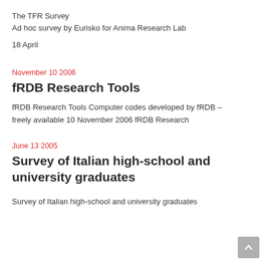The TFR Survey
Ad hoc survey by Eurisko for Anima Research Lab
18 April
November 10 2006
fRDB Research Tools
fRDB Research Tools Computer codes developed by fRDB – freely available 10 November 2006 fRDB Research
June 13 2005
Survey of Italian high-school and university graduates
Survey of Italian high-school and university graduates